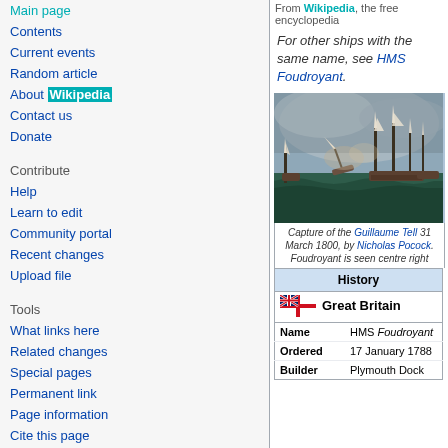Main page
Contents
Current events
Random article
About Wikipedia
Contact us
Donate
Contribute
Help
Learn to edit
Community portal
Recent changes
Upload file
Tools
What links here
Related changes
Special pages
Permanent link
Page information
Cite this page
Wikidata item
From Wikipedia, the free encyclopedia
For other ships with the same name, see HMS Foudroyant.
[Figure (illustration): Painting of the Capture of the Guillaume Tell 31 March 1800, by Nicholas Pocock. Foudroyant is seen centre right]
Capture of the Guillaume Tell 31 March 1800, by Nicholas Pocock. Foudroyant is seen centre right
| History |
| --- |
| Great Britain |
| Name | HMS Foudroyant |
| Ordered | 17 January 1788 |
| Builder | Plymouth Dock |